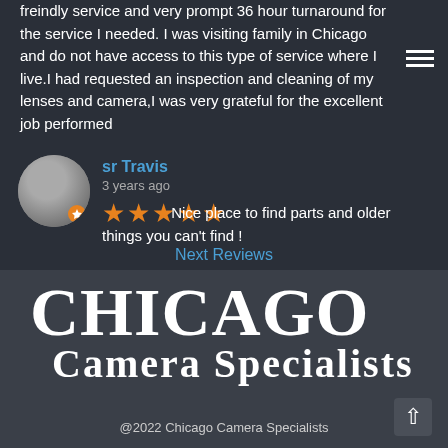freindly service and very prompt 36 hour turnaround for the service I needed.  I was visiting family in Chicago and do not have access to this type of service where I live.I had requested an inspection and cleaning of my lenses and camera,I was very grateful for the excellent job performed
sr Travis
3 years ago
★★★★★  Nice place to find parts and older things you can't find !
Next Reviews
CHICAGO
CAMERA SPECIALISTS
@2022 Chicago Camera Specialists